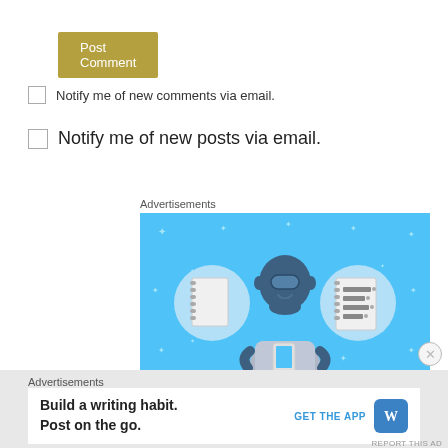Post Comment
Notify me of new comments via email.
Notify me of new posts via email.
Advertisements
[Figure (illustration): Illustration advertisement showing a cartoon person holding a phone, flanked by two notebook icons on circular backgrounds, on a bright blue background with sparkle accents.]
Advertisements
Build a writing habit.
Post on the go.
GET THE APP